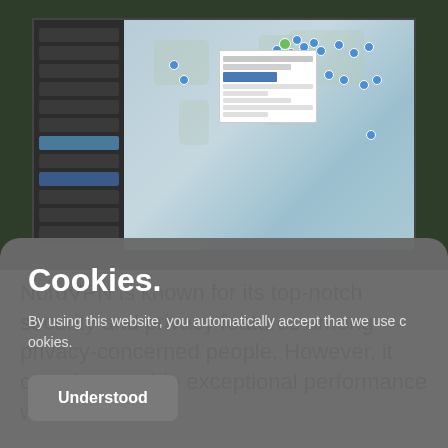[Figure (screenshot): Screenshot of NordVPN desktop application showing a world map with server location pins and a sidebar listing countries/servers. Dark green decorative background surrounds the app window.]
NordVPN is known for its top-notch security and privacy features among privacy-concerned people. However, it can also provide exceptional performance when
Cookies.
By using this website, you automatically accept that we use cookies.
Understood